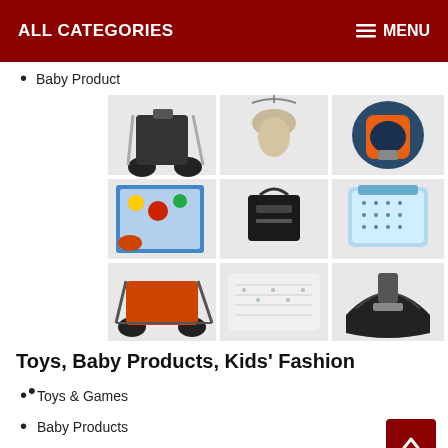ALL CATEGORIES    MENU
Baby Product
[Figure (photo): 3x3 grid of baby products: stroller (black), baby swing/bouncer, infant car seat (orange/gray), activity play mat with toys, black diaper bag, blue burp cloth/bib, double jogging stroller (orange), white fitted sheet/swaddle blanket, black carrycot/bassinet]
Toys, Baby Products, Kids' Fashion
Toys & Games
Baby Products
Diapers